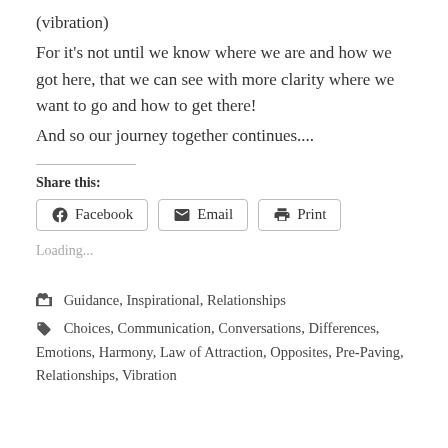(vibration)
For it's not until we know where we are and how we got here, that we can see with more clarity where we want to go and how to get there!
And so our journey together continues....
Share this:
[Figure (infographic): Share buttons for Facebook, Email, and Print]
Loading...
Guidance, Inspirational, Relationships
Choices, Communication, Conversations, Differences, Emotions, Harmony, Law of Attraction, Opposites, Pre-Paving, Relationships, Vibration